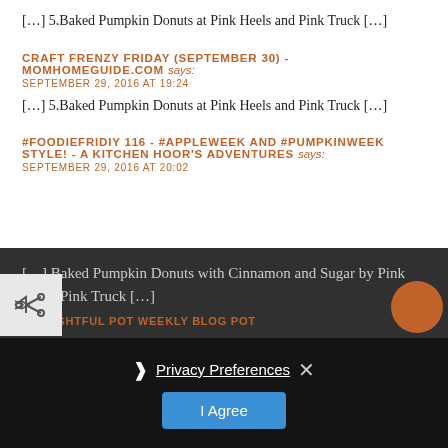[…] 5.Baked Pumpkin Donuts at Pink Heels and Pink Truck […]
CRAFT FRENZY FRIDAY (SEPTEMBER 30) - MOMHOMEGUIDE.COM says:
SEPTEMBER 29, 2016 AT 19:24
[…] 5.Baked Pumpkin Donuts at Pink Heels and Pink Truck […]
#FOODIEFRIDIY 116 - #APPLEWEEK AND #PUMPKINWEEK STYLE! - A KITCHEN HOOR'S ADVENTURES says:
SEPTEMBER 29, 2016 AT 20:02
[…] Baked Pumpkin Donuts with Cinnamon and Sugar by Pink Heels Pink Truck […]
Privacy Preferences
I Agree
THOUGHTFUL POT WEEKLY BLOG POT